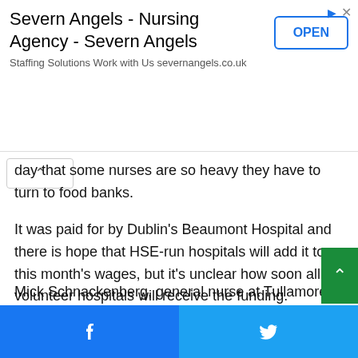[Figure (other): Advertisement banner for Severn Angels Nursing Agency with OPEN button]
day that some nurses are so heavy they have to turn to food banks.
It was paid for by Dublin’s Beaumont Hospital and there is hope that HSE-run hospitals will add it to this month's wages, but it's unclear how soon all volunteer hospitals will receive the funding.
It comes as nurses heard of the financial plight of a growing number of their colleagues at the Irish Nurses and Midwives Organization (INMO) annual conference.
Mick Schnackenberg, general nurse at Tullamore Hospital